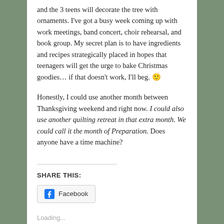and the 3 teens will decorate the tree with ornaments. I've got a busy week coming up with work meetings, band concert, choir rehearsal, and book group. My secret plan is to have ingredients and recipes strategically placed in hopes that teenagers will get the urge to bake Christmas goodies… if that doesn't work, I'll beg. 🙂
Honestly, I could use another month between Thanksgiving weekend and right now. I could also use another quilting retreat in that extra month. We could call it the month of Preparation. Does anyone have a time machine?
SHARE THIS:
Facebook
Loading...